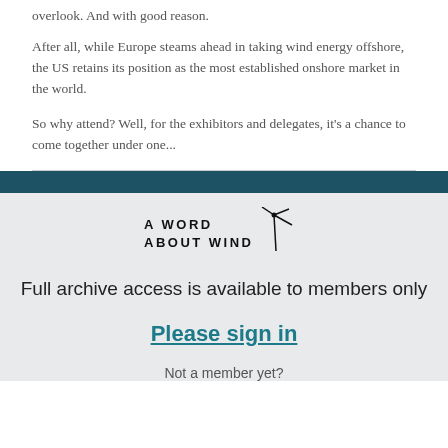overlook. And with good reason.
After all, while Europe steams ahead in taking wind energy offshore, the US retains its position as the most established onshore market in the world.
So why attend? Well, for the exhibitors and delegates, it's a chance to come together under one...
[Figure (logo): A Word About Wind logo with wind turbine icon]
Full archive access is available to members only
Please sign in
Not a member yet?